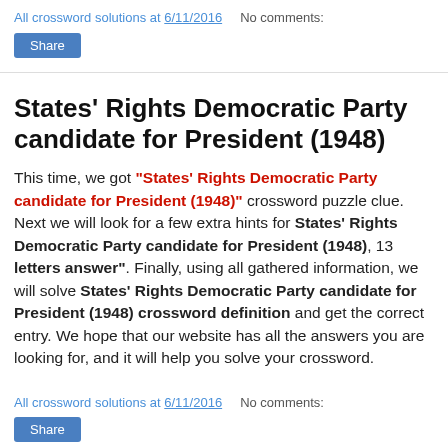All crossword solutions at 6/11/2016   No comments:
States' Rights Democratic Party candidate for President (1948)
This time, we got "States' Rights Democratic Party candidate for President (1948)" crossword puzzle clue. Next we will look for a few extra hints for States' Rights Democratic Party candidate for President (1948), 13 letters answer". Finally, using all gathered information, we will solve States' Rights Democratic Party candidate for President (1948) crossword definition and get the correct entry. We hope that our website has all the answers you are looking for, and it will help you solve your crossword.
All crossword solutions at 6/11/2016   No comments: